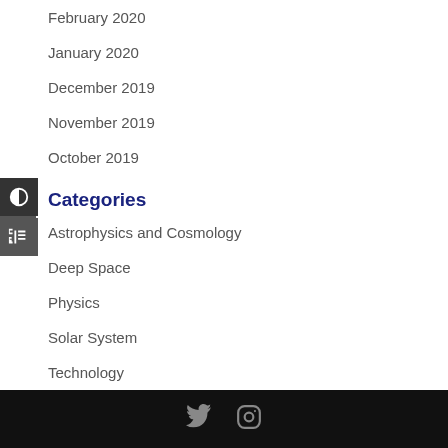February 2020
January 2020
December 2019
November 2019
October 2019
Categories
Astrophysics and Cosmology
Deep Space
Physics
Solar System
Technology
Twitter and Instagram social media icons